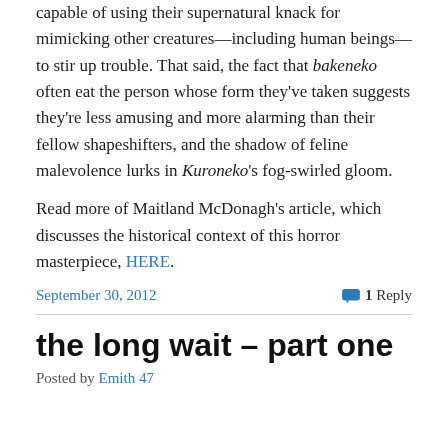capable of using their supernatural knack for mimicking other creatures—including human beings—to stir up trouble. That said, the fact that bakeneko often eat the person whose form they've taken suggests they're less amusing and more alarming than their fellow shapeshifters, and the shadow of feline malevolence lurks in Kuroneko's fog-swirled gloom.
Read more of Maitland McDonagh's article, which discusses the historical context of this horror masterpiece, HERE.
September 30, 2012     1 Reply
the long wait – part one
Posted by Emith 47...